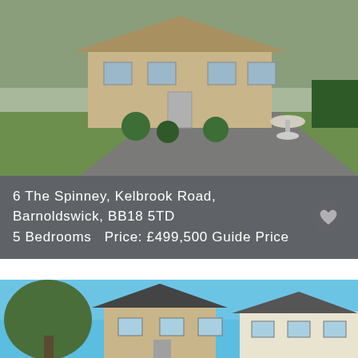[Figure (photo): Exterior photo of a stone bungalow with a driveway, garden with topiary bushes, and a birdbath/sundial on a green lawn. Trees and hedges in background.]
6 The Spinney, Kelbrook Road, Barnoldswick, BB18 5TD
5 Bedrooms  Price: £499,500 Guide Price
[Figure (photo): Exterior photo of new-build stone and render detached houses with dark roofs under a bright blue sky, with trees on the left.]